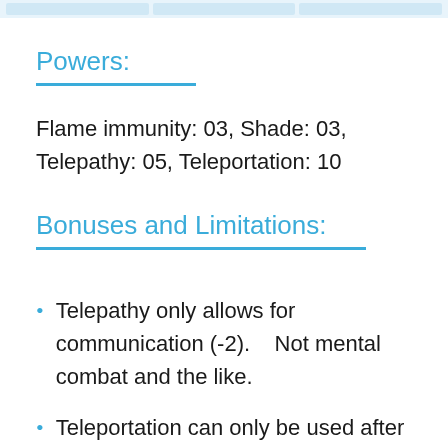Powers:
Flame immunity: 03, Shade: 03, Telepathy: 05, Teleportation: 10
Bonuses and Limitations:
Telepathy only allows for communication (-2).    Not mental combat and the like.
Teleportation can only be used after